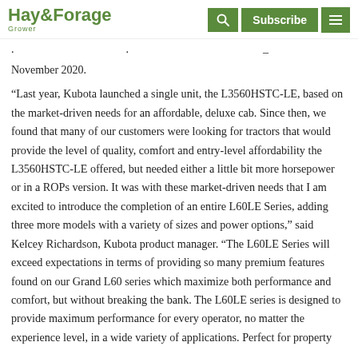Hay & Forage Grower — Subscribe
November 2020.
“Last year, Kubota launched a single unit, the L3560HSTC-LE, based on the market-driven needs for an affordable, deluxe cab. Since then, we found that many of our customers were looking for tractors that would provide the level of quality, comfort and entry-level affordability the L3560HSTC-LE offered, but needed either a little bit more horsepower or in a ROPs version. It was with these market-driven needs that I am excited to introduce the completion of an entire L60LE Series, adding three more models with a variety of sizes and power options,” said Kelcey Richardson, Kubota product manager. “The L60LE Series will exceed expectations in terms of providing so many premium features found on our Grand L60 series which maximize both performance and comfort, but without breaking the bank. The L60LE series is designed to provide maximum performance for every operator, no matter the experience level, in a wide variety of applications. Perfect for property